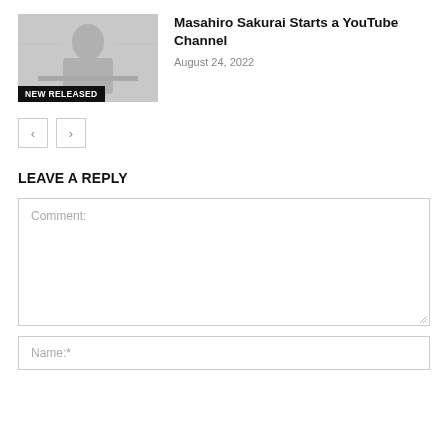[Figure (photo): Thumbnail image of Masahiro Sakurai with a 'NEW RELEASED' badge overlay at the bottom left]
Masahiro Sakurai Starts a YouTube Channel
August 24, 2022
LEAVE A REPLY
Comment:
Name:*